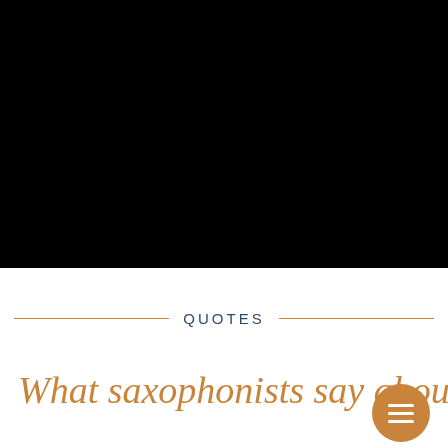[Figure (photo): Large black rectangle occupying the top portion of the page, representing a dark/black image or video placeholder]
QUOTES
What saxophonists say about
[Figure (other): Orange circular menu/hamburger button with three white horizontal lines, positioned at the bottom right]